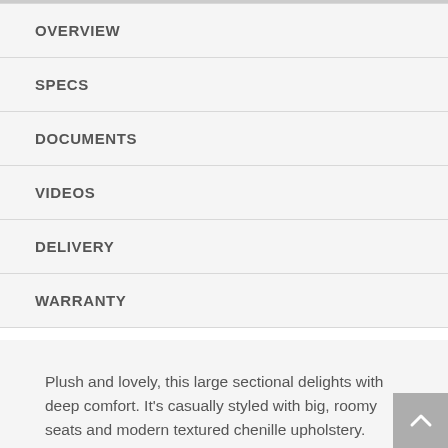OVERVIEW
SPECS
DOCUMENTS
VIDEOS
DELIVERY
WARRANTY
Plush and lovely, this large sectional delights with deep comfort. It's casually styled with big, roomy seats and modern textured chenille upholstery.